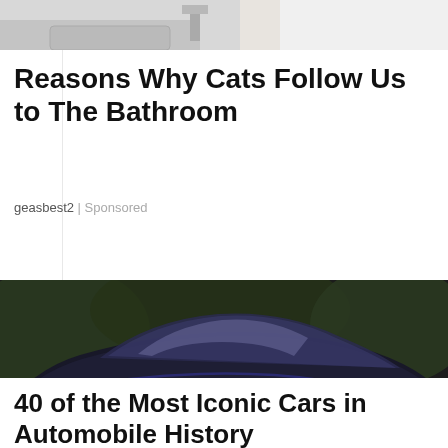[Figure (photo): Partial photo at top of page showing a person in a white shirt near a bathroom sink]
Reasons Why Cats Follow Us to The Bathroom
geasbest2 | Sponsored
[Figure (photo): Photo of a sleek, dramatic black custom supercar with multiple circular exhaust ports at the front and large spoke wheels, with a handwritten signature overlay]
40 of the Most Iconic Cars in Automobile History